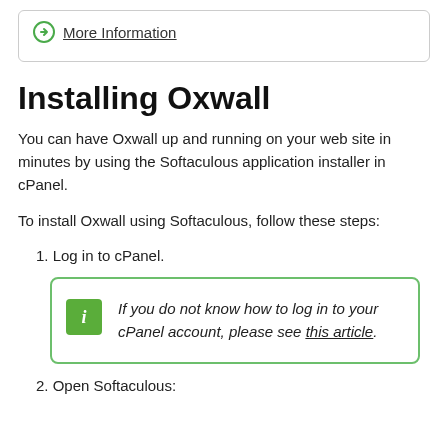More Information
Installing Oxwall
You can have Oxwall up and running on your web site in minutes by using the Softaculous application installer in cPanel.
To install Oxwall using Softaculous, follow these steps:
1. Log in to cPanel.
If you do not know how to log in to your cPanel account, please see this article.
2. Open Softaculous: